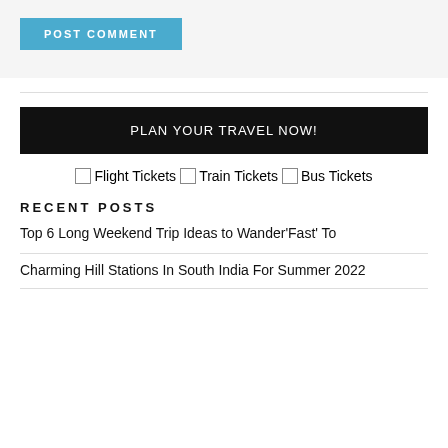[Figure (other): POST COMMENT button (blue/teal background, white bold uppercase text)]
PLAN YOUR TRAVEL NOW!
Flight Tickets  Train Tickets  Bus Tickets
RECENT POSTS
Top 6 Long Weekend Trip Ideas to Wander'Fast' To
Charming Hill Stations In South India For Summer 2022